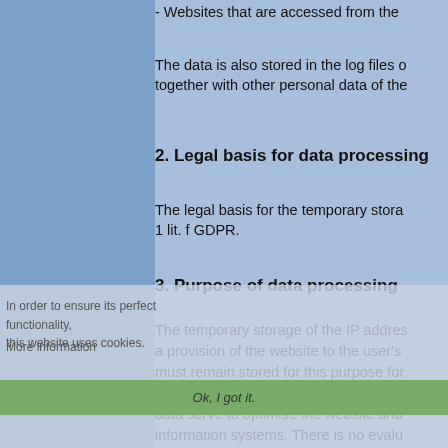- Websites that are accessed from the
The data is also stored in the log files of together with other personal data of the
2. Legal basis for data processing
The legal basis for the temporary stora 1 lit. f GDPR.
3. Purpose of data processing
The temporary storage of the IP addres a provision of the website to the user's must remain stored for this purpose for storage in log files is to ensure the func data serve to optimise the website and information systems. There is no evalu in relation to this.
Our justified interest in data processing